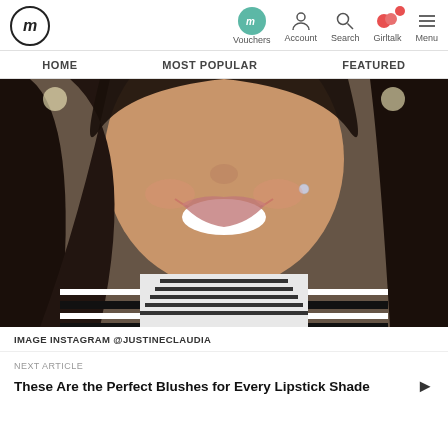fm | Vouchers | Account | Search | Girltalk | Menu
HOME
MOST POPULAR
FEATURED
[Figure (photo): Close-up selfie of a young woman with long dark hair, smiling, wearing a black and white striped top, with a small crystal stud earring.]
IMAGE INSTAGRAM @JUSTINECLAUDIA
NEXT ARTICLE
These Are the Perfect Blushes for Every Lipstick Shade